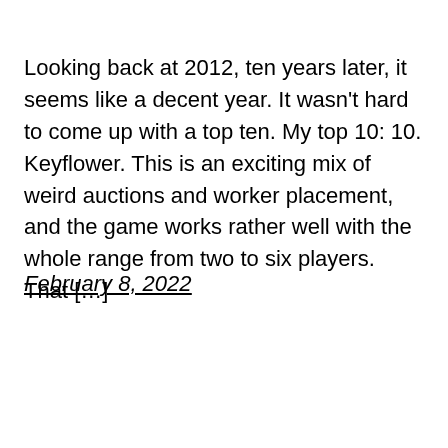Looking back at 2012, ten years later, it seems like a decent year. It wasn't hard to come up with a top ten. My top 10: 10. Keyflower. This is an exciting mix of weird auctions and worker placement, and the game works rather well with the whole range from two to six players. That […]
February 8, 2022